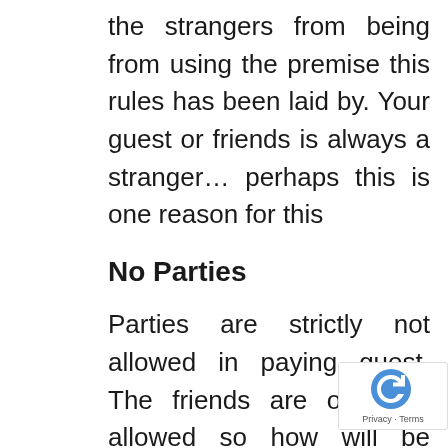the strangers from being from using the premise this rules has been laid by. Your guest or friends is always a stranger… perhaps this is one reason for this
No Parties
Parties are strictly not allowed in paying guest. The friends are only not allowed so how will be partying without friends. PG accommodations so not allow smoking or drinking and how that party go without friends….boring…will isn't but nothing much can be done to t